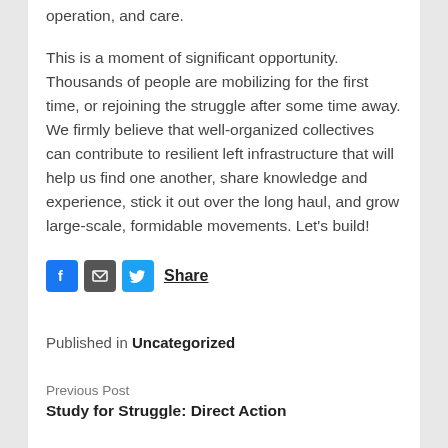operation, and care.
This is a moment of significant opportunity. Thousands of people are mobilizing for the first time, or rejoining the struggle after some time away. We firmly believe that well-organized collectives can contribute to resilient left infrastructure that will help us find one another, share knowledge and experience, stick it out over the long haul, and grow large-scale, formidable movements. Let's build!
[Figure (infographic): Social share buttons: Facebook (blue), Email (grey), Twitter (blue) icons followed by bold underlined text 'Share']
Published in Uncategorized
Previous Post
Study for Struggle: Direct Action